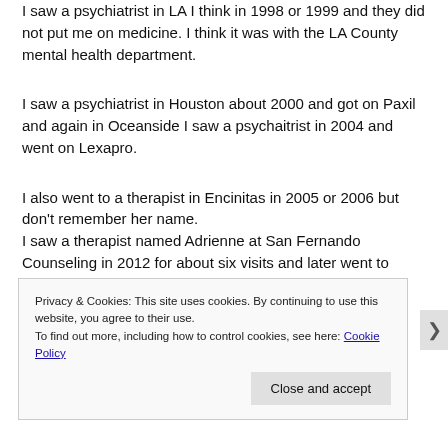I saw a psychiatrist in LA I think in 1998 or 1999 and they did not put me on medicine. I think it was with the LA County mental health department.
I saw a psychiatrist in Houston about 2000 and got on Paxil and again in Oceanside I saw a psychaitrist in 2004 and went on Lexapro.
I also went to a therapist in Encinitas in 2005 or 2006 but don't remember her name.
I saw a therapist named Adrienne at San Fernando Counseling in 2012 for about six visits and later went to
Privacy & Cookies: This site uses cookies. By continuing to use this website, you agree to their use. To find out more, including how to control cookies, see here: Cookie Policy